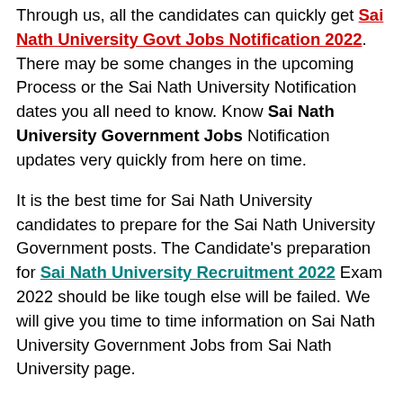Through us, all the candidates can quickly get Sai Nath University Govt Jobs Notification 2022. There may be some changes in the upcoming Process or the Sai Nath University Notification dates you all need to know. Know Sai Nath University Government Jobs Notification updates very quickly from here on time.
It is the best time for Sai Nath University candidates to prepare for the Sai Nath University Government posts. The Candidate's preparation for Sai Nath University Recruitment 2022 Exam 2022 should be like tough else will be failed. We will give you time to time information on Sai Nath University Government Jobs from Sai Nath University page.
There...